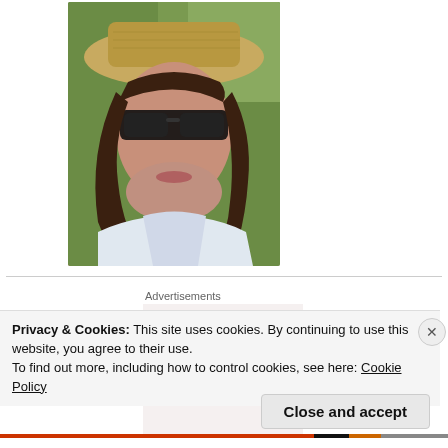[Figure (photo): Portrait photo of a person wearing sunglasses and a straw hat, with green foliage in the background]
Advertisements
[Figure (screenshot): Advertisement box with text 'Business in' and partial second line visible]
Privacy & Cookies: This site uses cookies. By continuing to use this website, you agree to their use.
To find out more, including how to control cookies, see here: Cookie Policy
Close and accept